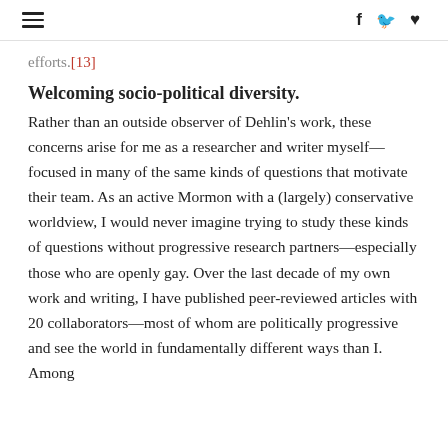≡   f  🐦  ♥
efforts.[13]
Welcoming socio-political diversity.
Rather than an outside observer of Dehlin's work, these concerns arise for me as a researcher and writer myself—focused in many of the same kinds of questions that motivate their team. As an active Mormon with a (largely) conservative worldview, I would never imagine trying to study these kinds of questions without progressive research partners—especially those who are openly gay. Over the last decade of my own work and writing, I have published peer-reviewed articles with 20 collaborators—most of whom are politically progressive and see the world in fundamentally different ways than I. Among